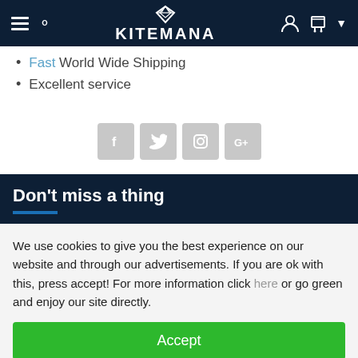KITEMANA
Fast World Wide Shipping
Excellent service
[Figure (other): Social media icon buttons: Facebook, Twitter, Instagram, Google+]
Don't miss a thing
We use cookies to give you the best experience on our website and through our advertisements. If you are ok with this, press accept! For more information click here or go green and enjoy our site directly.
Accept
Refuse